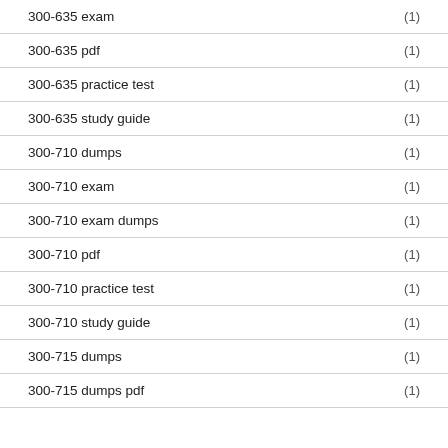300-635 exam (1)
300-635 pdf (1)
300-635 practice test (1)
300-635 study guide (1)
300-710 dumps (1)
300-710 exam (1)
300-710 exam dumps (1)
300-710 pdf (1)
300-710 practice test (1)
300-710 study guide (1)
300-715 dumps (1)
300-715 dumps pdf (1)